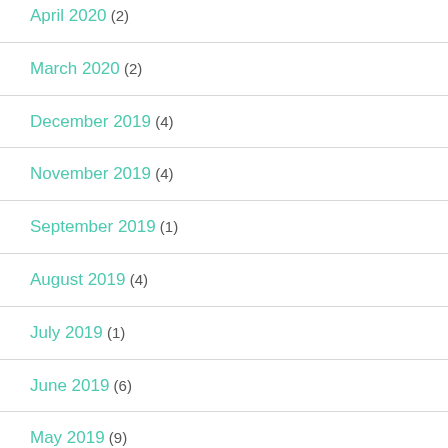April 2020 (2)
March 2020 (2)
December 2019 (4)
November 2019 (4)
September 2019 (1)
August 2019 (4)
July 2019 (1)
June 2019 (6)
May 2019 (9)